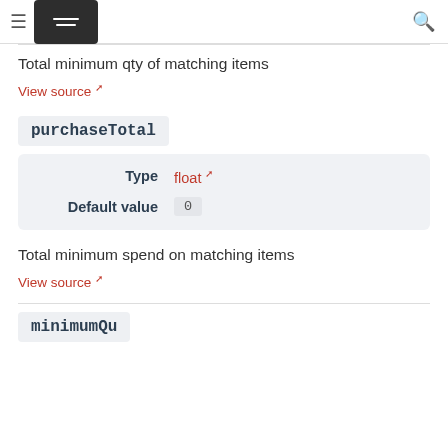≡ [logo] Q
Total minimum qty of matching items
View source ↗
purchaseTotal
| Property | Value |
| --- | --- |
| Type | float ↗ |
| Default value | 0 |
Total minimum spend on matching items
View source ↗